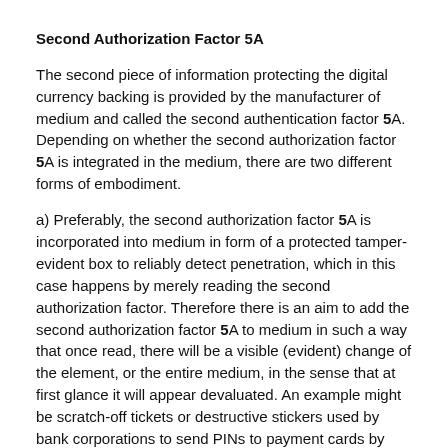Second Authorization Factor 5A
The second piece of information protecting the digital currency backing is provided by the manufacturer of medium and called the second authentication factor 5A. Depending on whether the second authorization factor 5A is integrated in the medium, there are two different forms of embodiment.
a) Preferably, the second authorization factor 5A is incorporated into medium in form of a protected tamper-evident box to reliably detect penetration, which in this case happens by merely reading the second authorization factor. Therefore there is an aim to add the second authorization factor 5A to medium in such a way that once read, there will be a visible (evident) change of the element, or the entire medium, in the sense that at first glance it will appear devaluated. An example might be scratch-off tickets or destructive stickers used by bank corporations to send PINs to payment cards by post. Optionally, the second authorization factor 5A may be encapsulated inside the body of a means of payment so that it one cannot read it without destroying the means of payment.